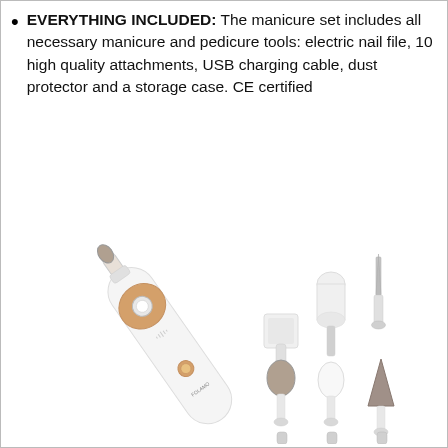EVERYTHING INCLUDED: The manicure set includes all necessary manicure and pedicure tools: electric nail file, 10 high quality attachments, USB charging cable, dust protector and a storage case. CE certified
[Figure (photo): Electric nail file device with rose gold and white body shown at an angle with various nail attachment heads displayed beside it including grinding bits, buffing caps, and filing tips. Brand name FOLAMO visible on the handle.]